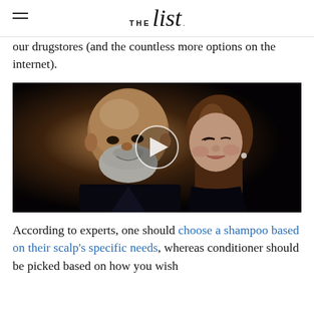THE list
our drugstores (and the countless more options on the internet).
[Figure (photo): A man with a bald head and white beard smiling closely with a woman with long brown hair, posed together at what appears to be a formal event, dark background. A video play button is overlaid in the center.]
According to experts, one should choose a shampoo based on their scalp's specific needs, whereas conditioner should be picked based on how you wish